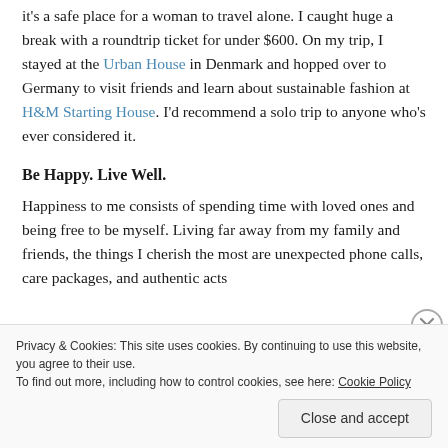it's a safe place for a woman to travel alone. I caught huge a break with a roundtrip ticket for under $600. On my trip, I stayed at the Urban House in Denmark and hopped over to Germany to visit friends and learn about sustainable fashion at H&M Starting House. I'd recommend a solo trip to anyone who's ever considered it.
Be Happy. Live Well.
Happiness to me consists of spending time with loved ones and being free to be myself. Living far away from my family and friends, the things I cherish the most are unexpected phone calls, care packages, and authentic acts
Privacy & Cookies: This site uses cookies. By continuing to use this website, you agree to their use. To find out more, including how to control cookies, see here: Cookie Policy
Close and accept